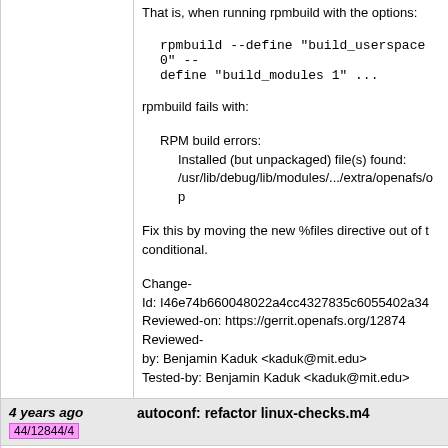That is, when running rpmbuild with the options:
rpmbuild --define "build_userspace 0" --define "build_modules 1" ...
rpmbuild fails with:
RPM build errors:
    Installed (but unpackaged) file(s) found:
    /usr/lib/debug/lib/modules/.../extra/openafs/op
Fix this by moving the new %files directive out of the conditional.
Change-Id: I46e74b660048022a4cc4327835c6055402a34
Reviewed-on: https://gerrit.openafs.org/12874
Reviewed-by: Benjamin Kaduk <kaduk@mit.edu>
Tested-by: Benjamin Kaduk <kaduk@mit.edu>
4 years ago
44/12844/4
autoconf: refactor linux-checks.m4
commit | commitdiff | tree
Michael Meffie [Sat, 30 Dec 2017 22:59:38 +0000]
autoconf: refactor linux-checks.m4
Further refactoring of the autoconf macros. Div...